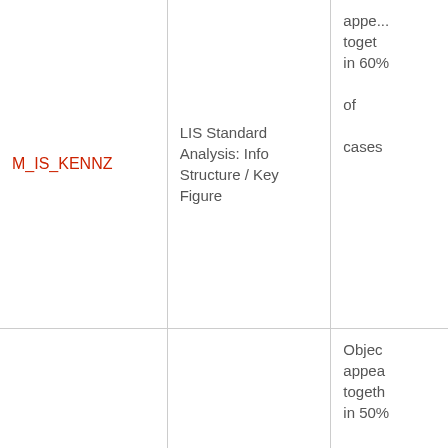| Key | Description | Info |
| --- | --- | --- |
| M_IS_KENNZ | LIS Standard Analysis: Info Structure / Key Figure | appe... together in 60% of cases |
| I_QMEL | PM/QM: Notification Types | Object appears together in 50% of cases |
| I_KOSTL | PM: Cost Centers | Object appears together in 27% of |